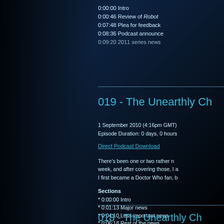0:00:00 Intro
0:00:46 Review of Robot
0:07:48 Plea for feedback
0:08:36 Podcast announce
0:09:20 2011 series news
019 - The Unearthly Ch
1 September 2010 (4:16pm GMT)
Episode Duration: 0 days, 0 hours
Direct Podcast Download
There's been one or two rather n week, and after covering those, I a I first became a Doctor Who fan, b
Sections
* 0:00:00 Intro
* 0:01:13 Major news
* 0:04:10 Less important news
* 0:06:18 Rest of the news
018 - The Unearthly Ch